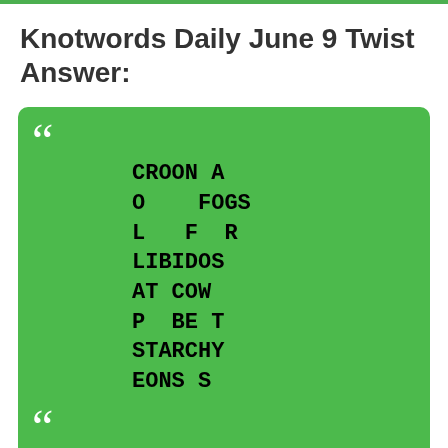Knotwords Daily June 9 Twist Answer:
[Figure (other): Green card with quotation marks and puzzle answer text reading: CROON A / O  FOGS / L  F  R / LIBIDOS / AT COW / P  BE T / STARCHY / EONS S]
Knotwords All Levels [PuzzleBook+Daily] Click here